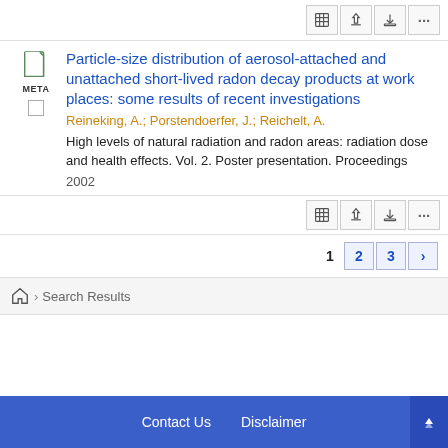Particle-size distribution of aerosol-attached and unattached short-lived radon decay products at work places: some results of recent investigations
Reineking, A.; Porstendoerfer, J.; Reichelt, A.
High levels of natural radiation and radon areas: radiation dose and health effects. Vol. 2. Poster presentation. Proceedings
2002
1  2  3  >
Search Results
Contact Us   Disclaimer